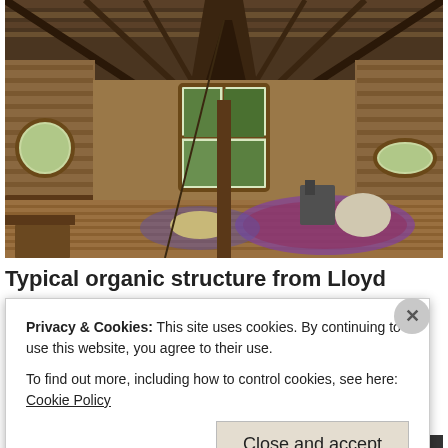[Figure (photo): Interior of a wooden organic structure with high vaulted ceiling made of natural timber beams, circular and rectangular windows, wood plank walls and floors, colorful rugs, cushions, and simple furniture visible inside.]
Typical organic structure from Lloyd Kahn's Tiny
Privacy & Cookies: This site uses cookies. By continuing to use this website, you agree to their use.
To find out more, including how to control cookies, see here: Cookie Policy